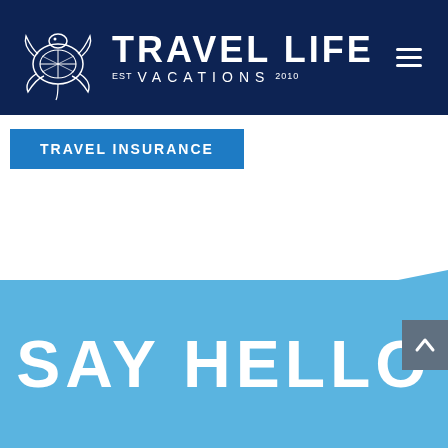[Figure (logo): Travel Life Vacations logo with sea turtle illustration and brand name on dark navy background. Hamburger menu icon on right.]
TRAVEL INSURANCE
SAY HELLO